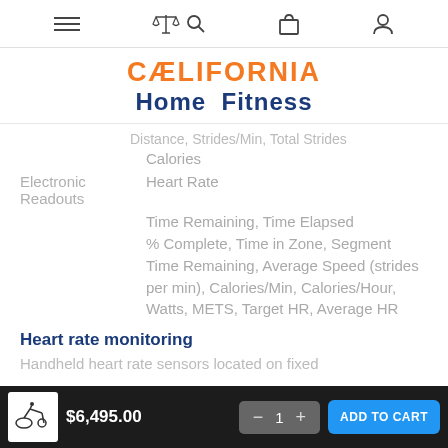[Figure (screenshot): Navigation bar with hamburger menu, compare/search icons, shopping bag, and user profile icon]
[Figure (logo): California Home Fitness logo in orange and navy blue]
Distance, Strides/Min, Total Strides
Calories
Electronic Readouts
Heart Rate
Time Remaining, Time Elapsed
% Complete, Time in Zone, Segment Time Remaining, Average Speed (strides per min), Calories/Min, Calories/Hour, Watts, METS, Target HR, Average HR
Heart rate monitoring
Handheld heart rate sensors located on fixed
$6,495.00
1
ADD TO CART